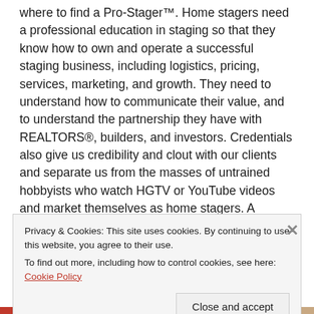where to find a Pro-Stager™. Home stagers need a professional education in staging so that they know how to own and operate a successful staging business, including logistics, pricing, services, marketing, and growth. They need to understand how to communicate their value, and to understand the partnership they have with REALTORS®, builders, and investors. Credentials also give us credibility and clout with our clients and separate us from the masses of untrained hobbyists who watch HGTV or YouTube videos and market themselves as home stagers. A reputable staging course greatly shortens the learning curve and the struggle cycle so many business owners enter when they do not invest in a proper foundation for...
Privacy & Cookies: This site uses cookies. By continuing to use this website, you agree to their use.
To find out more, including how to control cookies, see here: Cookie Policy
Close and accept